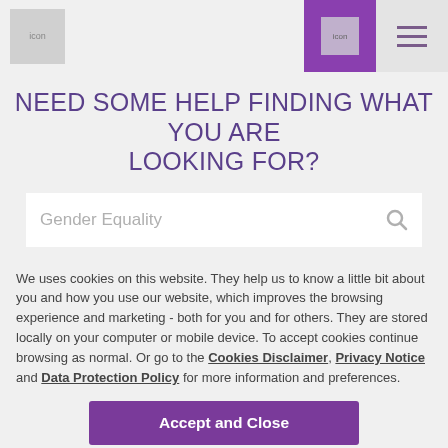icon | icon | menu
NEED SOME HELP FINDING WHAT YOU ARE LOOKING FOR?
[Figure (screenshot): Search input box with placeholder text 'Gender Equality' and a search icon]
We uses cookies on this website. They help us to know a little bit about you and how you use our website, which improves the browsing experience and marketing - both for you and for others. They are stored locally on your computer or mobile device. To accept cookies continue browsing as normal. Or go to the Cookies Disclaimer, Privacy Notice and Data Protection Policy for more information and preferences.
Accept and Close